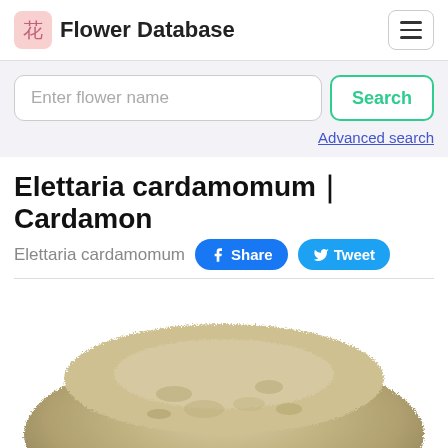花 Flower Database
Enter flower name
Search
Advanced search
Elettaria cardamomum｜Cardamon
Elettaria cardamomum
[Figure (photo): Pile of tan/beige cardamom powder photographed from above, showing the mounded texture of the ground spice]